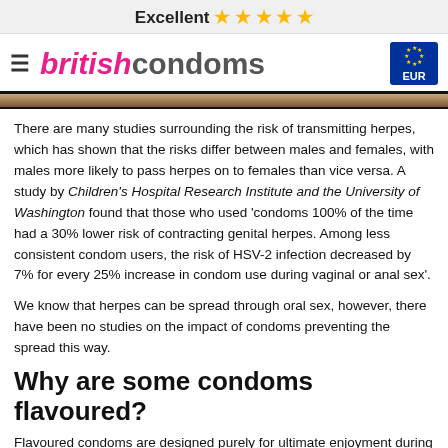Excellent ⭐⭐⭐⭐⭐
[Figure (logo): BritishCondoms logo with hamburger menu and EUR currency badge]
There are many studies surrounding the risk of transmitting herpes, which has shown that the risks differ between males and females, with males more likely to pass herpes on to females than vice versa. A study by Children's Hospital Research Institute and the University of Washington found that those who used 'condoms 100% of the time had a 30% lower risk of contracting genital herpes. Among less consistent condom users, the risk of HSV-2 infection decreased by 7% for every 25% increase in condom use during vaginal or anal sex'.
We know that herpes can be spread through oral sex, however, there have been no studies on the impact of condoms preventing the spread this way.
Why are some condoms flavoured?
Flavoured condoms are designed purely for ultimate enjoyment during oral sex, although most are safe to use for penetration too. Flavoured condoms are some of the most popular, as they help to mask the potent taste of latex with a sweeter flavour.